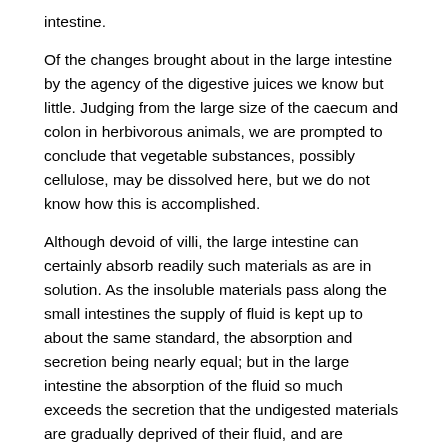intestine.
Of the changes brought about in the large intestine by the agency of the digestive juices we know but little. Judging from the large size of the caecum and colon in herbivorous animals, we are prompted to conclude that vegetable substances, possibly cellulose, may be dissolved here, but we do not know how this is accomplished.
Although devoid of villi, the large intestine can certainly absorb readily such materials as are in solution. As the insoluble materials pass along the small intestines the supply of fluid is kept up to about the same standard, the absorption and secretion being nearly equal; but in the large intestine the absorption of the fluid so much exceeds the secretion that the undigested materials are gradually deprived of their fluid, and are converted into soft solid masses which pass on to be added to the fasces.
Owing to its absorbent power the large intestine forms a ready channel by which materials can be introduced into the system in cases in which the stomach is too irritable to retain food.
The quantity of faeces evacuated in the day depends upon the kind of